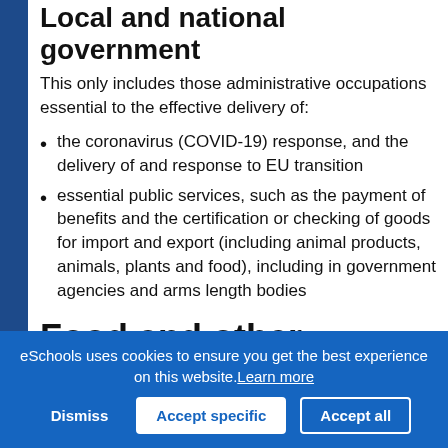Local and national government
This only includes those administrative occupations essential to the effective delivery of:
the coronavirus (COVID-19) response, and the delivery of and response to EU transition
essential public services, such as the payment of benefits and the certification or checking of goods for import and export (including animal products, animals, plants and food), including in government agencies and arms length bodies
Food and other necessary goods
eSchools uses cookies to ensure you get the best experience on this website. Learn more
Dismiss | Accept specific | Accept all